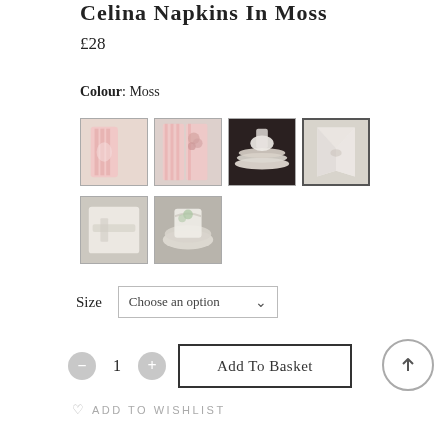Celina Napkins In Moss
£28
Colour: Moss
[Figure (photo): Six product thumbnail images of Celina Napkins in various tablescapes. Row 1: pink folded napkin, striped pink napkins with flowers, napkins on stacked plates, cream/white folded napkin (selected/highlighted). Row 2: plain cream napkin folded, napkins on plate with garnish.]
Size   Choose an option
1
Add To Basket
ADD TO WISHLIST